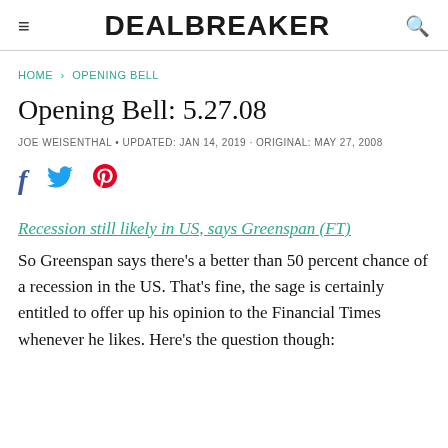DEALBREAKER
HOME › OPENING BELL
Opening Bell: 5.27.08
JOE WEISENTHAL · UPDATED: JAN 14, 2019 · ORIGINAL: MAY 27, 2008
[Figure (other): Social share icons: Facebook, Twitter, Pinterest]
Recession still likely in US, says Greenspan (FT)
So Greenspan says there's a better than 50 percent chance of a recession in the US. That's fine, the sage is certainly entitled to offer up his opinion to the Financial Times whenever he likes. Here's the question though: